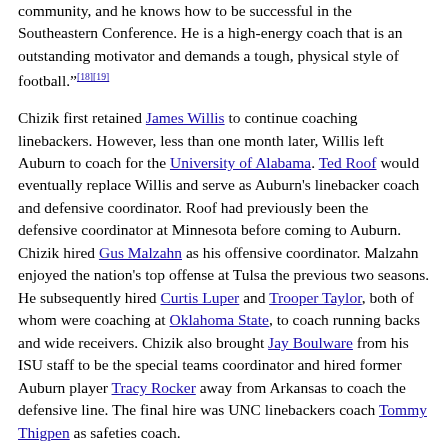community, and he knows how to be successful in the Southeastern Conference. He is a high-energy coach that is an outstanding motivator and demands a tough, physical style of football."[18][19]
Chizik first retained James Willis to continue coaching linebackers. However, less than one month later, Willis left Auburn to coach for the University of Alabama. Ted Roof would eventually replace Willis and serve as Auburn's linebacker coach and defensive coordinator. Roof had previously been the defensive coordinator at Minnesota before coming to Auburn. Chizik hired Gus Malzahn as his offensive coordinator. Malzahn enjoyed the nation's top offense at Tulsa the previous two seasons. He subsequently hired Curtis Luper and Trooper Taylor, both of whom were coaching at Oklahoma State, to coach running backs and wide receivers. Chizik also brought Jay Boulware from his ISU staff to be the special teams coordinator and hired former Auburn player Tracy Rocker away from Arkansas to coach the defensive line. The final hire was UNC linebackers coach Tommy Thigpen as safeties coach.
Chizik's incentive-laden contract at Auburn was for five years with a salary of approximately $1.9 million per year, an $800,000 increase from his Iowa State contract.[20][21] Iowa State was paid $750,000[22] by Chizik to be released from his contract which was paid by a loan from Auburn that was forgiven $150,000 for every